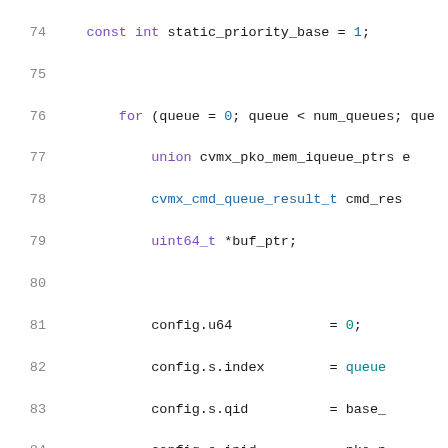[Figure (screenshot): Source code listing showing C code lines 74-95 with syntax highlighting. Keywords in purple, identifiers in blue/teal, numbers in blue, plain code in dark color. Line numbers shown in gray on left margin.]